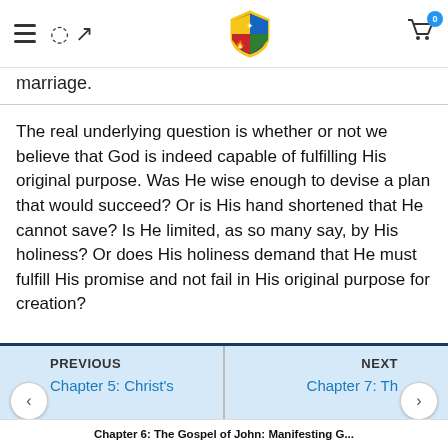Navigation bar with hamburger menu, search icon, shield logo, and shopping cart with 0 badge
marriage.
The real underlying question is whether or not we believe that God is indeed capable of fulfilling His original purpose. Was He wise enough to devise a plan that would succeed? Or is His hand shortened that He cannot save? Is He limited, as so many say, by His holiness? Or does His holiness demand that He must fulfill His promise and not fail in His original purpose for creation?
PREVIOUS | Chapter 5: Christ's ... | NEXT | Chapter 7: Th... | Chapter 6: The Gospel of John: Manifesting G...